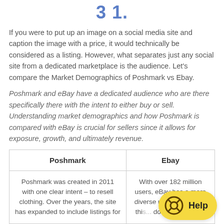3 1.
If you were to put up an image on a social media site and caption the image with a price, it would technically be considered as a listing. However, what separates just any social site from a dedicated marketplace is the audience. Let's compare the Market Demographics of Poshmark vs Ebay.
Poshmark and eBay have a dedicated audience who are there specifically there with the intent to either buy or sell. Understanding market demographics and how Poshmark is compared with eBay is crucial for sellers since it allows for exposure, growth, and ultimately revenue.
| Poshmark | Ebay |
| --- | --- |
| Poshmark was created in 2011 with one clear intent – to resell clothing. Over the years, the site has expanded to include listings for | With over 182 million users, eBay has a more diverse use... However, thi... does not play w... |
[Figure (other): Help button overlay with lifesaver icon and 'Help' text on yellow background]